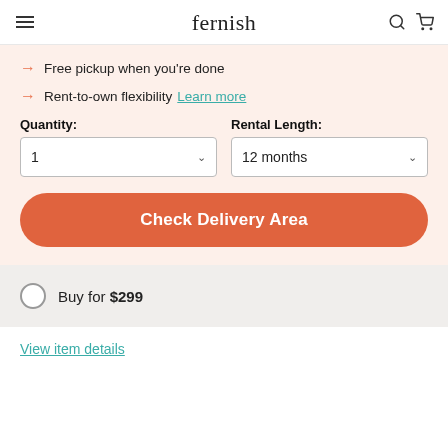fernish
Free pickup when you're done
Rent-to-own flexibility  Learn more
Quantity: 1   Rental Length: 12 months
Check Delivery Area
Buy for $299
View item details